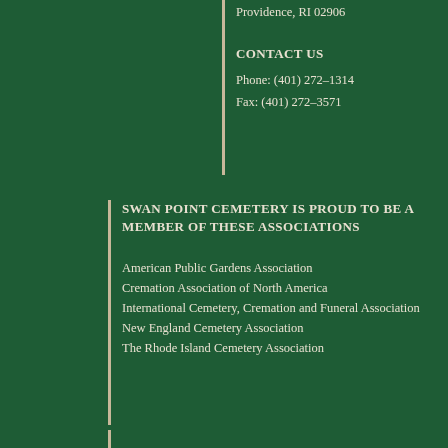Providence, RI 02906
CONTACT US
Phone: (401) 272–1314
Fax: (401) 272–3571
SWAN POINT CEMETERY IS PROUD TO BE A MEMBER OF THESE ASSOCIATIONS
American Public Gardens Association
Cremation Association of North America
International Cemetery, Cremation and Funeral Association
New England Cemetery Association
The Rhode Island Cemetery Association
HOURS OF OPERATION
Office: Mon – Fri 8:30am to 4:00pm
Cemetery Grounds visiting hours:
April 1 – September 30
8:00am to 7:00pm
October 1 – March 31
8:00am to 5:00pm
The cemetery observes the following holidays: